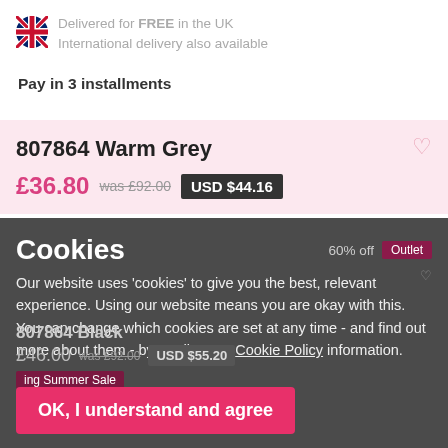Delivered for FREE in the UK
International delivery also available
Pay in 3 installments
807864 Warm Grey
£36.80  was £92.00  USD $44.16
Cookies
60% off  Outlet
Our website uses 'cookies' to give you the best, relevant experience. Using our website means you are okay with this. You can change which cookies are set at any time - and find out more about them - by reading our Cookie Policy information.
807864 Black
£46.00  was £92.00  USD $55.20
ing Summer Sale
OK, I understand and agree